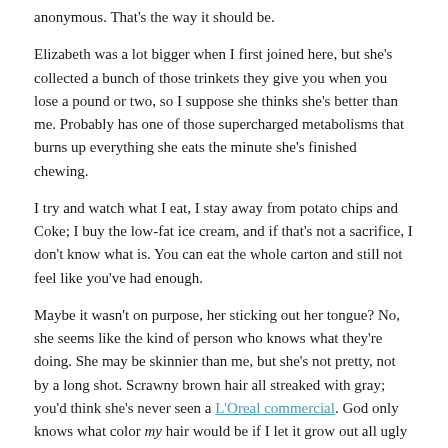anonymous. That's the way it should be.
Elizabeth was a lot bigger when I first joined here, but she's collected a bunch of those trinkets they give you when you lose a pound or two, so I suppose she thinks she's better than me. Probably has one of those supercharged metabolisms that burns up everything she eats the minute she's finished chewing.
I try and watch what I eat, I stay away from potato chips and Coke; I buy the low-fat ice cream, and if that's not a sacrifice, I don't know what is. You can eat the whole carton and still not feel like you've had enough.
Maybe it wasn't on purpose, her sticking out her tongue? No, she seems like the kind of person who knows what they're doing. She may be skinnier than me, but she's not pretty, not by a long shot. Scrawny brown hair all streaked with gray; you'd think she's never seen a L'Oreal commercial. God only knows what color my hair would be if I let it grow out all ugly like that. And she hardly even combs it, lets it stick up all over her head, like she just climbed out of bed.
Did I do something to her and not realize it? I don't think so. I'm pretty careful to steer clear of the other people, not bump into them in line. I